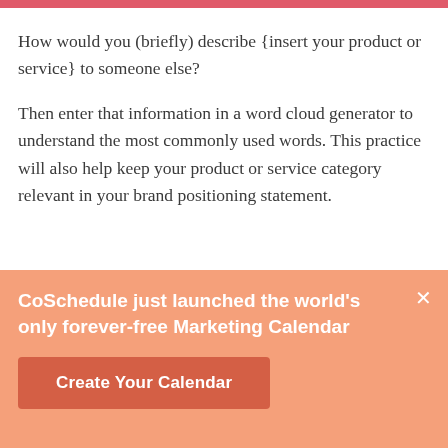How would you (briefly) describe {insert your product or service} to someone else?
Then enter that information in a word cloud generator to understand the most commonly used words. This practice will also help keep your product or service category relevant in your brand positioning statement.
CoSchedule just launched the world's only forever-free Marketing Calendar
Create Your Calendar